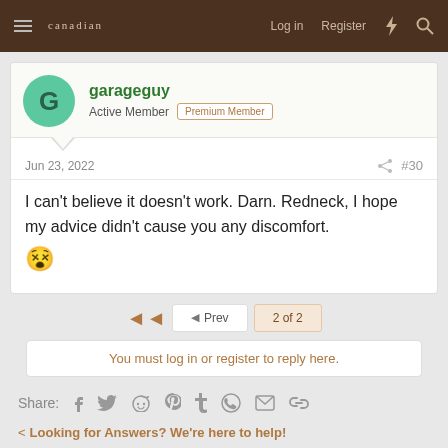canadian  Log in  Register
garageguy
Active Member  Premium Member
Jun 23, 2022  #30
I can't believe it doesn't work. Darn. Redneck, I hope my advice didn't cause you any discomfort. 😵
◄  ◄ Prev  2 of 2
You must log in or register to reply here.
Share:
< Looking for Answers? We're here to help!